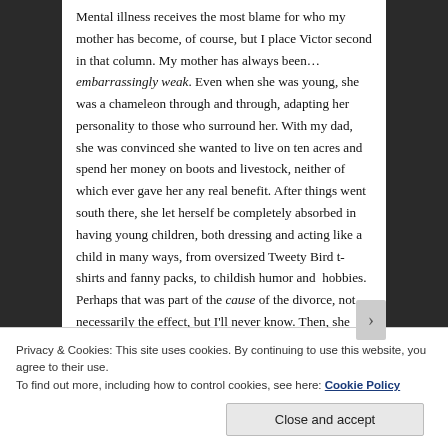Mental illness receives the most blame for who my mother has become, of course, but I place Victor second in that column. My mother has always been… embarrassingly weak. Even when she was young, she was a chameleon through and through, adapting her personality to those who surround her. With my dad, she was convinced she wanted to live on ten acres and spend her money on boots and livestock, neither of which ever gave her any real benefit. After things went south there, she let herself be completely absorbed in having young children, both dressing and acting like a child in many ways, from oversized Tweety Bird t-shirts and fanny packs, to childish humor and  hobbies. Perhaps that was part of the cause of the divorce, not necessarily the effect, but I'll never know. Then, she met this weird little man, who wore a
Privacy & Cookies: This site uses cookies. By continuing to use this website, you agree to their use.
To find out more, including how to control cookies, see here: Cookie Policy
Close and accept